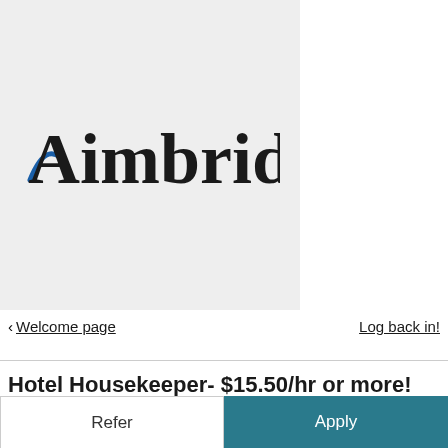[Figure (logo): Aimbridge company logo on light gray background. Black serif text 'Aimbridge' with a blue curved swoosh accent on the capital A.]
< Welcome page
Log back in!
Hotel Housekeeper- $15.50/hr or more!
Refer
Apply